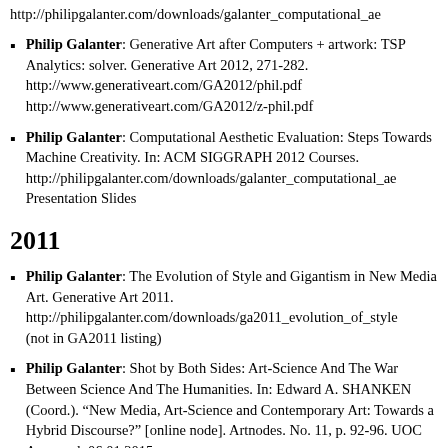http://philipgalanter.com/downloads/galanter_computational_ae
Philip Galanter: Generative Art after Computers + artwork: TSP Analytics: solver. Generative Art 2012, 271-282. http://www.generativeart.com/GA2012/phil.pdf http://www.generativeart.com/GA2012/z-phil.pdf
Philip Galanter: Computational Aesthetic Evaluation: Steps Towards Machine Creativity. In: ACM SIGGRAPH 2012 Courses. http://philipgalanter.com/downloads/galanter_computational_ae Presentation Slides
2011
Philip Galanter: The Evolution of Style and Gigantism in New Media Art. Generative Art 2011. http://philipgalanter.com/downloads/ga2011_evolution_of_style (not in GA2011 listing)
Philip Galanter: Shot by Both Sides: Art-Science And The War Between Science And The Humanities. In: Edward A. SHANKEN (Coord.). "New Media, Art-Science and Contemporary Art: Towards a Hybrid Discourse?" [online node]. Artnodes. No. 11, p. 92-96. UOC Accessed: 06.01.2015. http://...